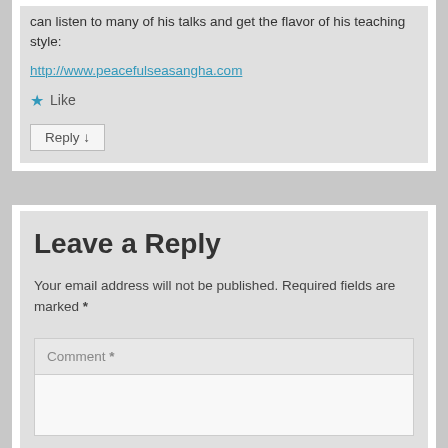can listen to many of his talks and get the flavor of his teaching style:
http://www.peacefulseasangha.com
Like
Reply ↓
Leave a Reply
Your email address will not be published. Required fields are marked *
Comment *